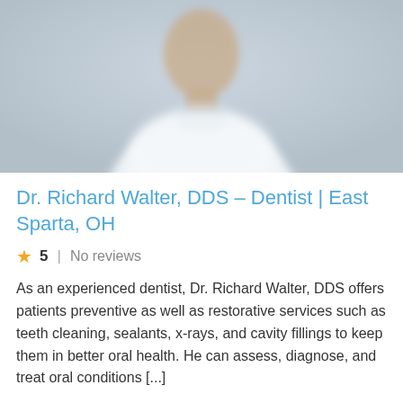[Figure (photo): Blurred photo of a dentist in a white coat against a light gray background]
Dr. Richard Walter, DDS – Dentist | East Sparta, OH
★ 5  |  No reviews
As an experienced dentist, Dr. Richard Walter, DDS offers patients preventive as well as restorative services such as teeth cleaning, sealants, x-rays, and cavity fillings to keep them in better oral health. He can assess, diagnose, and treat oral conditions [...]